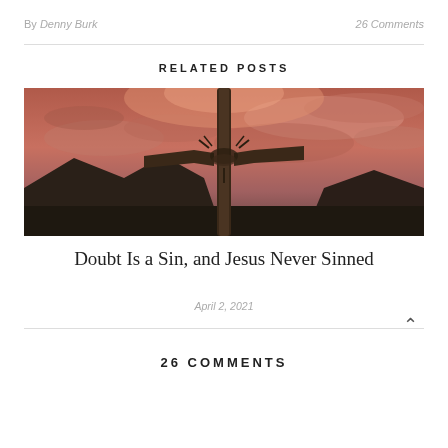By Denny Burk
26 Comments
RELATED POSTS
[Figure (photo): A wooden cross against a dramatic red and cloudy sunset sky, with mountains in the background]
Doubt Is a Sin, and Jesus Never Sinned
April 2, 2021
26 COMMENTS